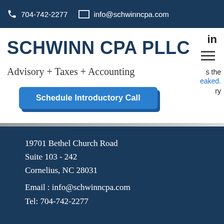704-742-2277  info@schwinncpa.com
SCHWINN CPA PLLC
Advisory + Taxes + Accounting
Schedule Introductory Call
19701 Bethel Church Road
Suite 103 - 242
Cornelius, NC 28031
Email : info@schwinncpa.com
Tel: 704-742-2277